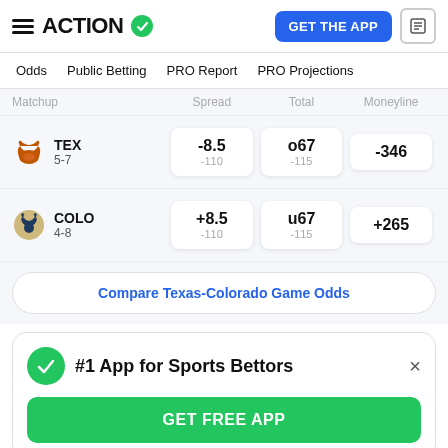ACTION — GET THE APP
Odds | Public Betting | PRO Report | PRO Projections
| Matchup | Spread | Total | Moneyline |
| --- | --- | --- | --- |
| TEX 5-7 | -8.5 / -110 | o67 / -115 | -346 |
| COLO 4-8 | +8.5 / -110 | u67 / -115 | +265 |
Compare Texas-Colorado Game Odds
#1 App for Sports Bettors
GET FREE APP